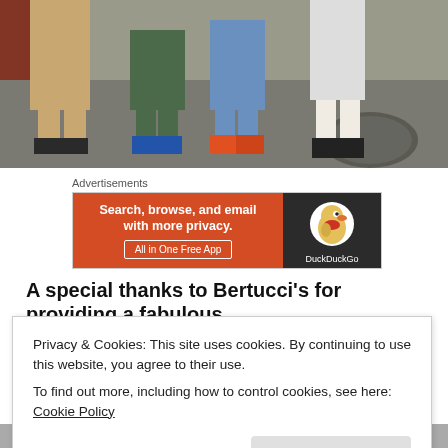[Figure (photo): Group of people standing together showing legs and shoes on a street with brick wall background]
Advertisements
[Figure (infographic): DuckDuckGo advertisement banner. Left orange section: 'Search, browse, and email with more privacy. All in One Free App'. Right dark section: DuckDuckGo duck logo and brand name.]
A special thanks to Bertucci's for providing a fabulous
Privacy & Cookies: This site uses cookies. By continuing to use this website, you agree to their use.
To find out more, including how to control cookies, see here: Cookie Policy

Close and accept
[Figure (photo): Partial photo at bottom showing people, cropped]